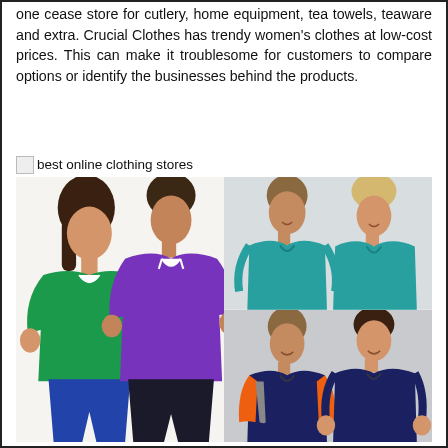one cease store for cutlery, home equipment, tea towels, teaware and extra. Crucial Clothes has trendy women's clothes at low-cost prices. This can make it troublesome for customers to compare options or identify the businesses behind the products.
[Figure (photo): Broken image icon followed by text 'best online clothing stores']
[Figure (photo): Collage of three clothing photos: left panel shows a woman in green polo shirt and man in purple polo shirt; top right shows a man and woman both in teal/turquoise polo shirts; bottom right shows a man in navy/orange polo shirt and a woman in navy polo shirt.]